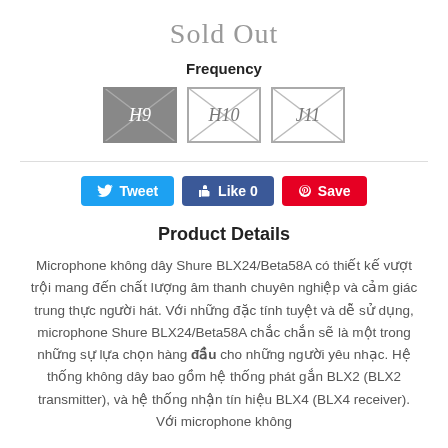Sold Out
Frequency
[Figure (other): Three frequency option buttons labeled H9 (dark/selected), H10, and J11, each with an X overlay indicating sold out]
[Figure (other): Social sharing buttons: Tweet (Twitter, blue), Like 0 (Facebook, dark blue), Save (Pinterest, red)]
Product Details
Microphone không dây Shure BLX24/Beta58A có thiết kế vượt trội mang đến chất lượng âm thanh chuyên nghiệp và cảm giác trung thực người hát. Với những đặc tính tuyệt và dễ sử dụng, microphone Shure BLX24/Beta58A chắc chắn sẽ là một trong những sự lựa chọn hàng đầu cho những người yêu nhạc. Hệ thống không dây bao gồm hệ thống phát gắn BLX2 (BLX2 transmitter), và hệ thống nhận tín hiệu BLX4 (BLX4 receiver). Với microphone không